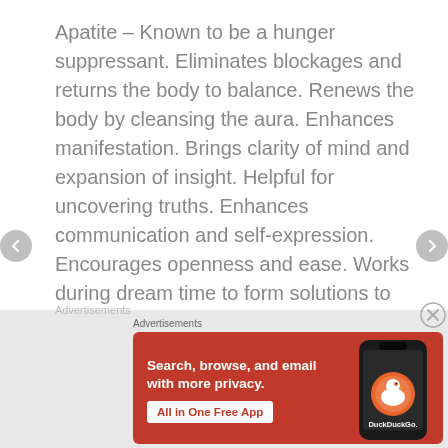Apatite – Known to be a hunger suppressant. Eliminates blockages and returns the body to balance. Renews the body by cleansing the aura. Enhances manifestation. Brings clarity of mind and expansion of insight. Helpful for uncovering truths. Enhances communication and self-expression. Encourages openness and ease. Works during dream time to form solutions to issues. Helps those who are overly emotional by inducing calm and finding solutions.
[Figure (other): DuckDuckGo advertisement banner with orange/red background showing 'Search, browse, and email with more privacy. All in One Free App' text and a smartphone with DuckDuckGo logo]